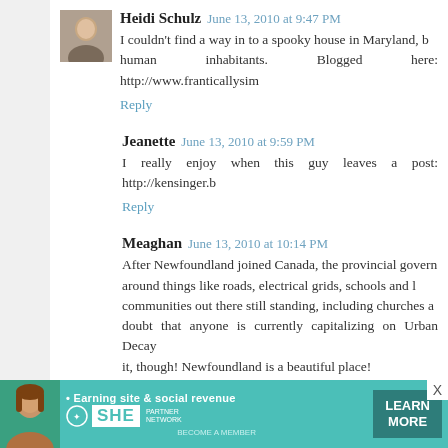Heidi Schulz  June 13, 2010 at 9:47 PM
I couldn't find a way in to a spooky house in Maryland, b... human inhabitants. Blogged here: http://www.franticallysim...
Reply
Jeanette  June 13, 2010 at 9:59 PM
I really enjoy when this guy leaves a post: http://kensinger.b...
Reply
Meaghan  June 13, 2010 at 10:14 PM
After Newfoundland joined Canada, the provincial govern... around things like roads, electrical grids, schools and l... communities out there still standing, including churches a... doubt that anyone is currently capitalizing on Urban Decay... it, though! Newfoundland is a beautiful place!
Reply
Anonymous  June 13, 2010 at 10:43 PM
[Figure (screenshot): SHE Network advertisement banner with teal background, woman photo, bullet point text, SHE logo, Learn More button]